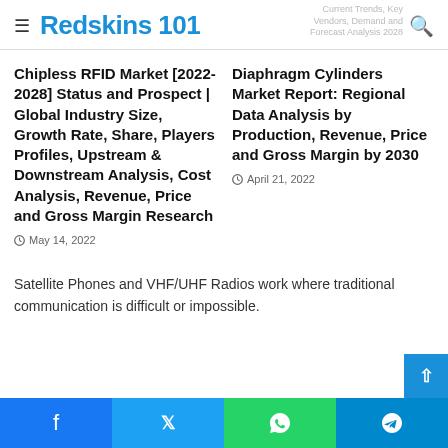Redskins 101
Chipless RFID Market [2022-2028] Status and Prospect | Global Industry Size, Growth Rate, Share, Players Profiles, Upstream & Downstream Analysis, Cost Analysis, Revenue, Price and Gross Margin Research
May 14, 2022
Diaphragm Cylinders Market Report: Regional Data Analysis by Production, Revenue, Price and Gross Margin by 2030
April 21, 2022
Satellite Phones and VHF/UHF Radios work where traditional communication is difficult or impossible.